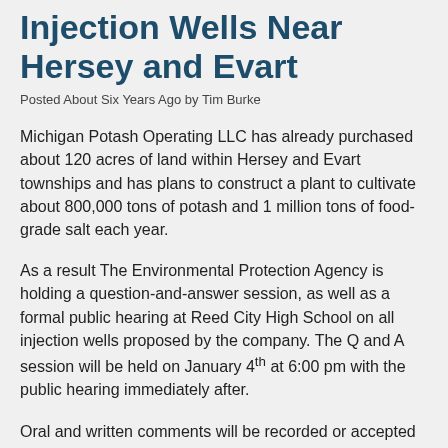Injection Wells Near Hersey and Evart
Posted About Six Years Ago by Tim Burke
Michigan Potash Operating LLC has already purchased about 120 acres of land within Hersey and Evart townships and has plans to construct a plant to cultivate about 800,000 tons of potash and 1 million tons of food-grade salt each year.
As a result The Environmental Protection Agency is holding a question-and-answer session, as well as a formal public hearing at Reed City High School on all injection wells proposed by the company. The Q and A session will be held on January 4th at 6:00 pm with the public hearing immediately after.
Oral and written comments will be recorded or accepted